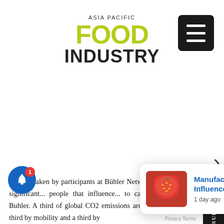ASIA PACIFIC FOOD INDUSTRY
[Figure (logo): Asia Pacific Food Industry logo with FOOD in yellow-green and INDUSTRY in black]
[Figure (screenshot): Hamburger menu icon (three horizontal white lines on black background)]
[Figure (illustration): Large white/blank content area (advertisement or image placeholder)]
[Figure (screenshot): SUBSCRIBE HERE vertical sidebar tab on right side]
Actions taken by participants at Bühler Networking Days can have a significant... people that influence... to carbon... logy Officer of Buhler. A third of global CO2 emissions are created by buildings, a third by mobility and a third by
[Figure (screenshot): Pop-up notification card: Manufacturing Processes Influence The Amount Of - 1 day ago, with strawberry image]
Privacy Terms